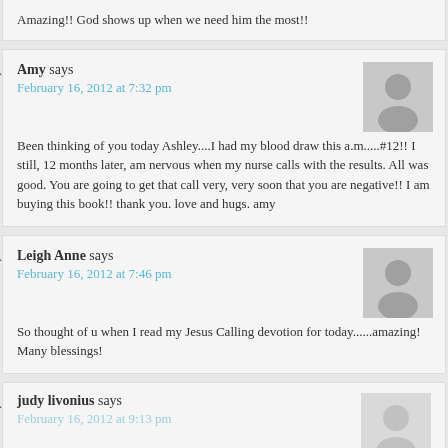Amazing!! God shows up when we need him the most!!
Amy says
February 16, 2012 at 7:32 pm
Been thinking of you today Ashley....I had my blood draw this a.m.....#12!! I still, 12 months later, am nervous when my nurse calls with the results. All was good. You are going to get that call very, very soon that you are negative!! I am buying this book!! thank you. love and hugs. amy
Leigh Anne says
February 16, 2012 at 7:46 pm
So thought of u when I read my Jesus Calling devotion for today......amazing! Many blessings!
judy livonius says
February 16, 2012 at 9:13 pm
Limitations are only opportunities to go life from a new...